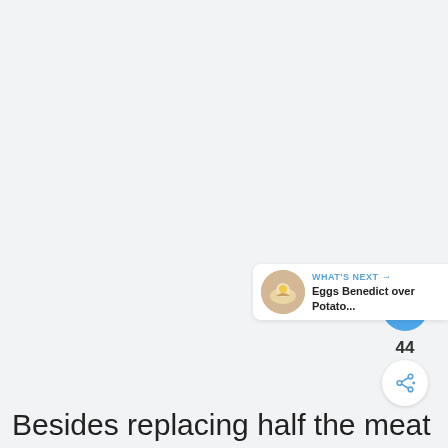[Figure (screenshot): Light gray background area taking up most of the page, representing a recipe article webpage screenshot with UI elements including a heart/like button showing 44 likes, a share button, and a 'What's Next' recommendation panel showing 'Eggs Benedict over Potato...']
Besides replacing half the meat